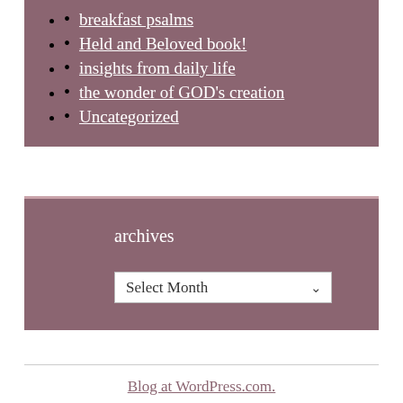breakfast psalms
Held and Beloved book!
insights from daily life
the wonder of GOD's creation
Uncategorized
archives
Select Month
Blog at WordPress.com.